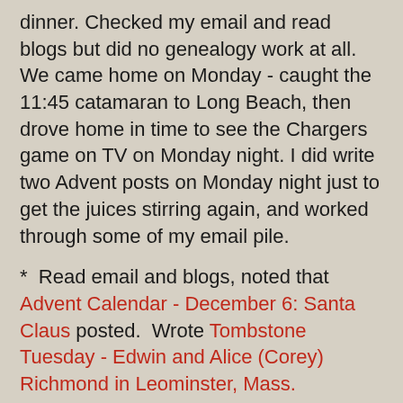dinner.  Checked my email and read blogs but did no genealogy work at all.  We came home on Monday - caught the 11:45 catamaran to Long Beach, then drove home in time to see the Chargers game on TV on Monday night.  I did write two Advent posts on Monday night just to get the juices stirring again, and worked through some of my email pile.
*  Read email and blogs, noted that Advent Calendar - December 6: Santa Claus posted.  Wrote Tombstone Tuesday - Edwin and Alice (Corey) Richmond in Leominster, Mass.
*  Worked in TootsMagic 5 and wrote Exploring RootsMagic 5 New Features - Post 5: The "On This Date" Report.  Answered lots more email.  Printed off CVGS things too.  Checked up on plantar fasciitis - yep, I got it!
*  Found some newspaper articles in Ancestry.com about several of the Knapp folks, so added data and sources to my database.
*  Downloaded the FTM 2012 patch, and wrote Family Tree...